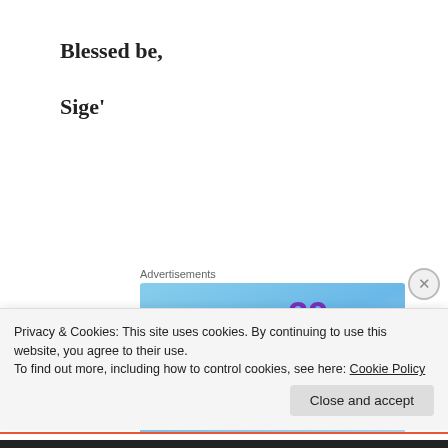Blessed be,
Sige'
Advertisements
[Figure (infographic): Advertisement banner: 'Works on the App Too!' with a stylized plus/t icon with sparkles. Price shown: $39.99 a year or $4.99 a month + Free Shipping. Blue sky background with purple and white text.]
Privacy & Cookies: This site uses cookies. By continuing to use this website, you agree to their use.
To find out more, including how to control cookies, see here: Cookie Policy
Close and accept